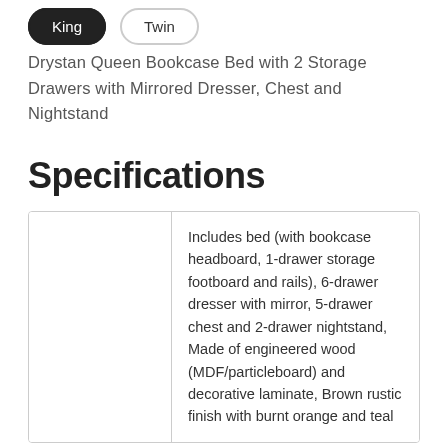King
Twin
Drystan Queen Bookcase Bed with 2 Storage Drawers with Mirrored Dresser, Chest and Nightstand
Specifications
|  |  |
| --- | --- |
|  | Includes bed (with bookcase headboard, 1-drawer storage footboard and rails), 6-drawer dresser with mirror, 5-drawer chest and 2-drawer nightstand, Made of engineered wood (MDF/particleboard) and decorative laminate, Brown rustic finish with burnt orange and teal |